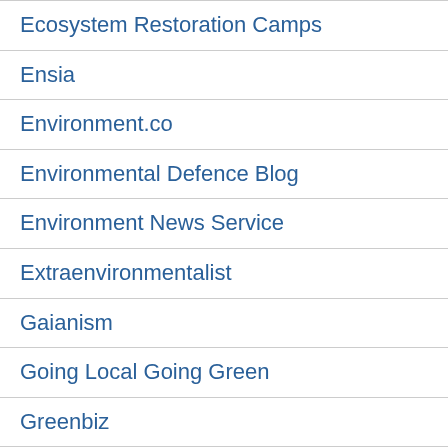Ecosystem Restoration Camps
Ensia
Environment.co
Environmental Defence Blog
Environment News Service
Extraenvironmentalist
Gaianism
Going Local Going Green
Greenbiz
Green European Journal